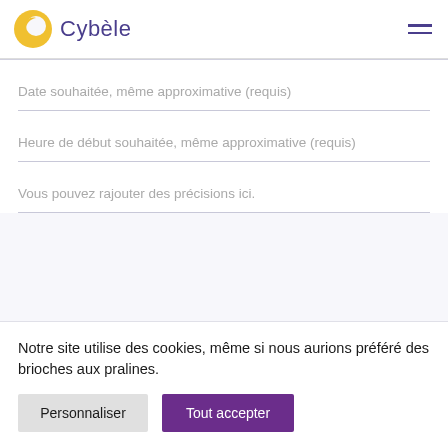Cybèle
Date souhaitée, même approximative (requis)
Heure de début souhaitée, même approximative (requis)
Vous pouvez rajouter des précisions ici.
Notre site utilise des cookies, même si nous aurions préféré des brioches aux pralines.
Personnaliser
Tout accepter